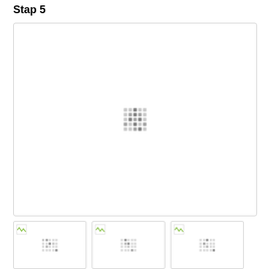Stap 5
[Figure (screenshot): Large white box with rounded border containing a loading/spinner dot grid pattern in the center]
[Figure (screenshot): Thumbnail 1 - small page preview with broken image icon and dot grid]
[Figure (screenshot): Thumbnail 2 - small page preview with broken image icon and dot grid]
[Figure (screenshot): Thumbnail 3 - small page preview with broken image icon and dot grid]